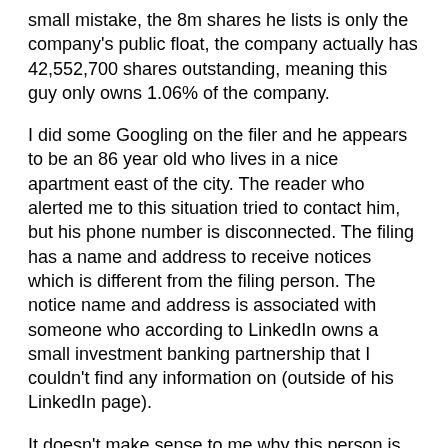small mistake, the 8m shares he lists is only the company's public float, the company actually has 42,552,700 shares outstanding, meaning this guy only owns 1.06% of the company.
I did some Googling on the filer and he appears to be an 86 year old who lives in a nice apartment east of the city.  The reader who alerted me to this situation tried to contact him, but his phone number is disconnected.  The filing has a name and address to receive notices which is different from the filing person.  The notice name and address is associated with someone who according to LinkedIn owns a small investment banking partnership that I couldn't find any information on (outside of his LinkedIn page).
It doesn't make sense to me why this person is filing a 13D for an unlisted company in the first place.  If a company isn't SEC filing my understanding was they were viewed no differently than a private company.  In a private company if ownership changes the exact changes aren't announced to the world, that's they the company is private.  Often management likes to take companies dark so they can have